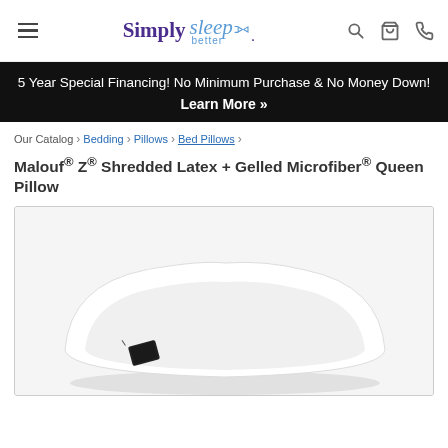Simply sleep better — navigation header with hamburger menu, logo, search, cart, phone icons
5 Year Special Financing! No Minimum Purchase & No Money Down! Learn More »
Our Catalog › Bedding › Pillows › Bed Pillows ›
Malouf® Z® Shredded Latex + Gelled Microfiber® Queen Pillow
[Figure (photo): Product photo of a white queen pillow with a small black label tag, shown on a light gray background]